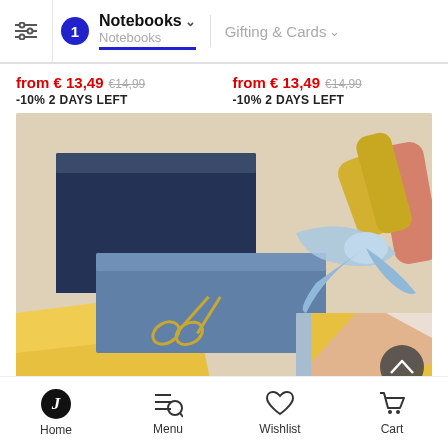Notebooks ▾  Gifting & Cards ▾
from € 13,49  €14,99  -10% 2 DAYS LEFT
from € 13,49  €14,99  -10% 2 DAYS LEFT
[Figure (photo): Close-up photo of gift boxes in navy blue and light blue tones with decorative wrapping paper in yellow, coral, and white geometric patterns, light blue satin ribbon, and gold scissors on a light wooden surface.]
Home  Menu  Wishlist  Cart